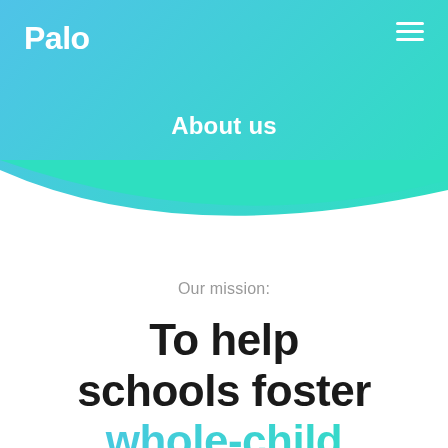Palo
About us
Our mission:
To help schools foster whole-child excellence